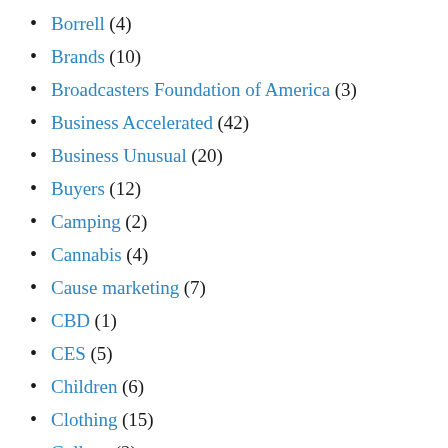Borrell (4)
Brands (10)
Broadcasters Foundation of America (3)
Business Accelerated (42)
Business Unusual (20)
Buyers (12)
Camping (2)
Cannabis (4)
Cause marketing (7)
CBD (1)
CES (5)
Children (6)
Clothing (15)
College (2)
Commercial Length (2)
community (43)